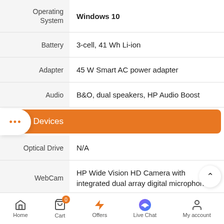| Attribute | Value |
| --- | --- |
| Operating System | Windows 10 |
| Battery | 3-cell, 41 Wh Li-ion |
| Adapter | 45 W Smart AC power adapter |
| Audio | B&O, dual speakers, HP Audio Boost |
Input Devices
| Attribute | Value |
| --- | --- |
| Optical Drive | N/A |
| WebCam | HP Wide Vision HD Camera with integrated dual array digital microphone |
Home  Cart  Offers  Live Chat  My account